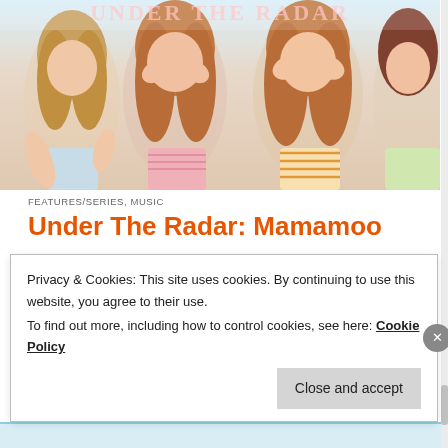[Figure (photo): Photo banner showing four young K-pop women posing with hands near faces against a light background]
FEATURES/SERIES, MUSIC
Under The Radar: Mamamoo
The world of Kpop is a big one, and with just about 50 groups debuting every day it's easy to miss the diamonds among the many rough. Cue our newest feature, "Under The Radar," where we bring you the Kpop stars that we feel are under-appreciated, in need of a shout out, or just deserving of a place on your playlists! Mamamoo Debut: 2014 | Music Style: Retro Jazz Fusion …
Privacy & Cookies: This site uses cookies. By continuing to use this website, you agree to their use.
To find out more, including how to control cookies, see here: Cookie Policy